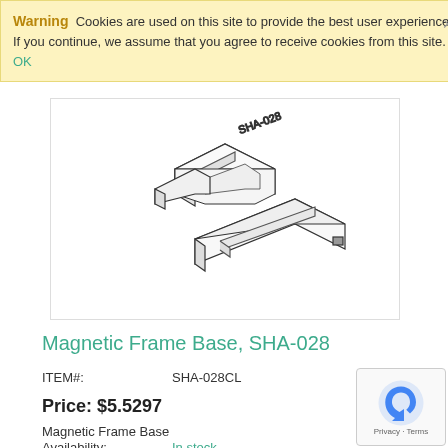Warning  Cookies are used on this site to provide the best user experience. If you continue, we assume that you agree to receive cookies from this site. OK
[Figure (engineering-diagram): Isometric technical illustration of a Magnetic Frame Base (SHA-028), showing interlocking channel/rail components in a cross arrangement, line drawing style in black and white with light shading.]
Magnetic Frame Base, SHA-028
ITEM#:    SHA-028CL
Price: $5.5297
Magnetic Frame Base
Availability:    In stock